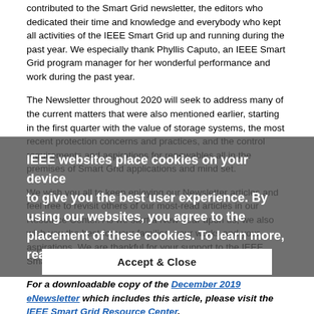contributed to the Smart Grid newsletter, the editors who dedicated their time and knowledge and everybody who kept all activities of the IEEE Smart Grid up and running during the past year. We especially thank Phyllis Caputo, an IEEE Smart Grid program manager for her wonderful performance and work during the past year.
The Newsletter throughout 2020 will seek to address many of the current matters that were also mentioned earlier, starting in the first quarter with the value of storage systems, the most recent protection concerns and practices, and the control requirements and aspirations for renewables all in the premises of Smart Grid applications and mind set.
We wish you all to keep enjoying our Newsletter articles and feel free to revisit others of our most-read articles in our Resource Center. As we start a New Year upon us, we also wish you the best for your families, your works and your aspirations. We are thankful for your support to the IEEE Smart Grid and the Newsletter!
For a downloadable copy of the December 2019 eNewsletter which includes this article, please visit the IEEE Smart Grid Resource Center.
[Figure (other): Cookie consent overlay with text: IEEE websites place cookies on your device to give you the best user experience. By using our websites, you agree to the placement of these cookies. To learn more, read our Privacy Policy. Accept & Close button.]